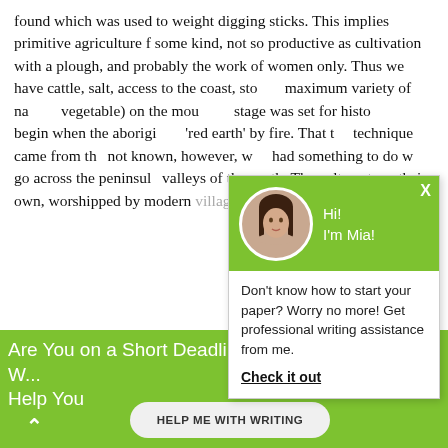found which was used to weight digging sticks. This implies primitive agriculture f some kind, not so productive as cultivation with a plough, and probably the work of women only. Thus we have cattle, salt, access to the coast, sto... maximum variety of na... vegetable) on the mou... stage was set for histo... begin when the aborigin... 'red earth' by fire. That t... technique came from th... not known, however, w... had something to do w... go across the peninsul... valleys of the south. Th... cult spots as their own, ... worshipped by modern villages, but the pastoral...
[Figure (other): Chat popup overlay with green header showing avatar of woman named Mia, with message: Don't know how to start your paper? Worry no more! Get professional writing assistance from me. Check it out.]
Are You on a Short Deadline? Let a Professional W... Help You
HELP ME WITH WRITING